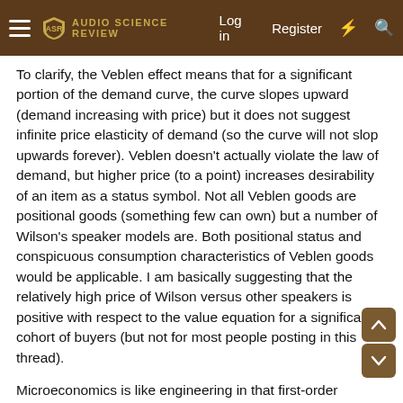Audio Science Review — Log in   Register
To clarify, the Veblen effect means that for a significant portion of the demand curve, the curve slopes upward (demand increasing with price) but it does not suggest infinite price elasticity of demand (so the curve will not slop upwards forever). Veblen doesn't actually violate the law of demand, but higher price (to a point) increases desirability of an item as a status symbol. Not all Veblen goods are positional goods (something few can own) but a number of Wilson's speaker models are. Both positional status and conspicuous consumption characteristics of Veblen goods would be applicable. I am basically suggesting that the relatively high price of Wilson versus other speakers is positive with respect to the value equation for a significant cohort of buyers (but not for most people posting in this thread).
Microeconomics is like engineering in that first-order models are used because they are sufficiently workable, not because they are perfect with respect to complex phenomena and behaviour. For the Duette 2 the picture would be complex. They were less